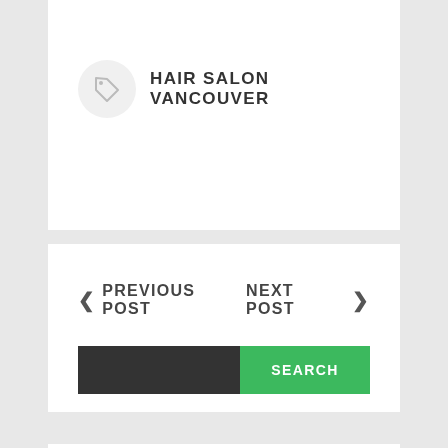HAIR SALON VANCOUVER
PREVIOUS POST
NEXT POST
[Figure (other): Search bar with dark input field and green SEARCH button]
RECENT POSTS